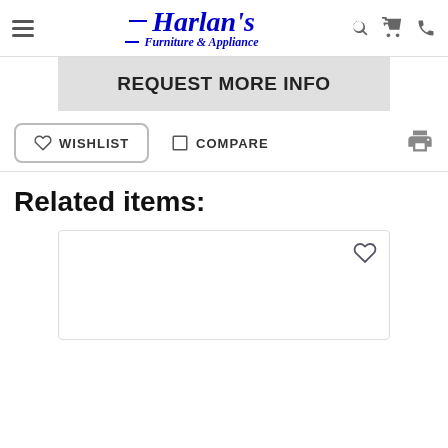Harlan's Furniture & Appliance
REQUEST MORE INFO
WISHLIST  COMPARE
Related items:
[Figure (other): Empty product card with a heart/wishlist icon in the top right corner]